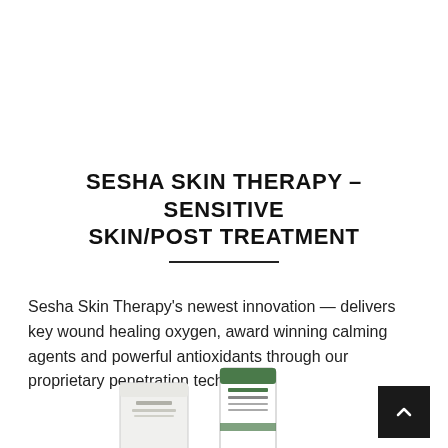SESHA SKIN THERAPY – SENSITIVE SKIN/POST TREATMENT
Sesha Skin Therapy's newest innovation — delivers key wound healing oxygen, award winning calming agents and powerful antioxidants through our proprietary penetration technology.
[Figure (photo): Product tubes from Sesha Skin Therapy line partially visible at bottom of page]